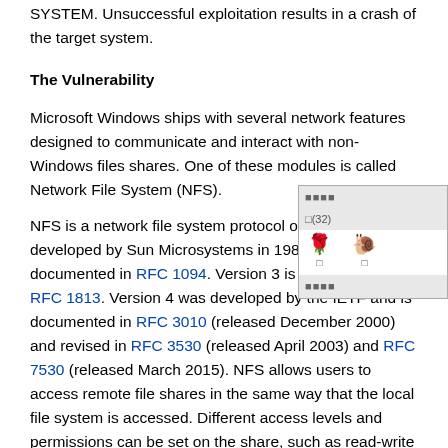SYSTEM. Unsuccessful exploitation results in a crash of the target system.
The Vulnerability
Microsoft Windows ships with several network features designed to communicate and interact with non-Windows files shares. One of these modules is called Network File System (NFS).
NFS is a network file system protocol originally developed by Sun Microsystems in 1984. Version 2 is documented in RFC 1094. Version 3 is documented in RFC 1813. Version 4 was developed by the IETF and is documented in RFC 3010 (released December 2000) and revised in RFC 3530 (released April 2003) and RFC 7530 (released March 2015). NFS allows users to access remote file shares in the same way that the local file system is accessed. Different access levels and permissions can be set on the share, such as read-write and read-only. Additionally, IP/UID/GID/Kerberos security can be used. NFS uses Open Network Computing (ONC) Remote Procedure Call (RPC) to
[Figure (other): A small popup/tooltip UI element showing emoji icons (flower and character) with labels, appearing as an overlay on the text.]